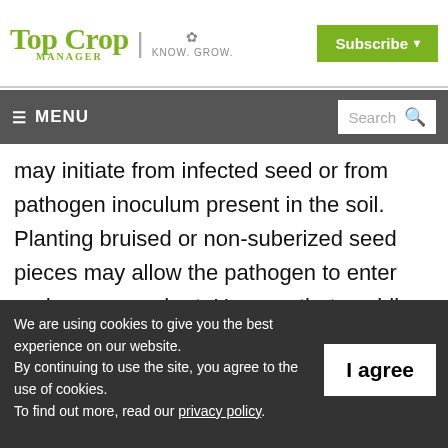TOP CROP MANAGER | KNOW. GROW. | Subscribe
≡ MENU | Search
may initiate from infected seed or from pathogen inoculum present in the soil. Planting bruised or non-suberized seed pieces may allow the pathogen to enter and cause seed rot. He says that avoiding planting in extremes of dry, cold, or
We are using cookies to give you the best experience on our website. By continuing to use the site, you agree to the use of cookies. To find out more, read our privacy policy.